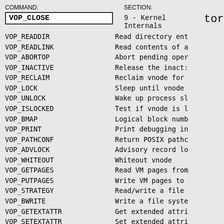COMMAND: VOP_CLOSE   SECTION: 9 - Kernel Internals   torv
VOP_READDIR   Read directory ent
VOP_READLINK   Read contents of a
VOP_ABORTOP   Abort pending oper
VOP_INACTIVE   Release the inacti
VOP_RECLAIM   Reclaim vnode for
VOP_LOCK   Sleep until vnode
VOP_UNLOCK   Wake up process sl
VOP_ISLOCKED   Test if vnode is l
VOP_BMAP   Logical block numb
VOP_PRINT   Print debugging in
VOP_PATHCONF   Return POSIX pathc
VOP_ADVLOCK   Advisory record lo
VOP_WHITEOUT   Whiteout vnode
VOP_GETPAGES   Read VM pages from
VOP_PUTPAGES   Write VM pages to
VOP_STRATEGY   Read/write a file
VOP_BWRITE   Write a file syste
VOP_GETEXTATTR   Get extended attri
VOP_SETEXTATTR   Set extended attri
VOP_LISTEXTATTR   List extended attr
VOP_DELETEEXTATTR   Remove extended at
The implementation details of the vnode